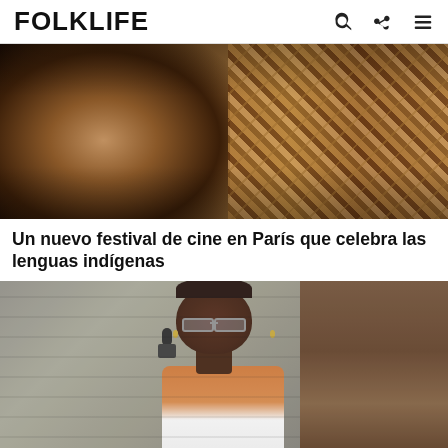FOLKLIFE
[Figure (photo): Close-up photo of a woman with long dark hair looking intently at camera, with a man in a plaid shirt visible in background]
Un nuevo festival de cine en París que celebra las lenguas indígenas
[Figure (photo): A Black woman with short hair and glasses speaking into a microphone, wearing a white and orange outfit, photographed in front of a stone wall]